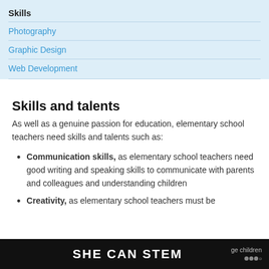Skills
Photography
Graphic Design
Web Development
Skills and talents
As well as a genuine passion for education, elementary school teachers need skills and talents such as:
Communication skills, as elementary school teachers need good writing and speaking skills to communicate with parents and colleagues and understanding children
Creativity, as elementary school teachers must be
SHE CAN STEM